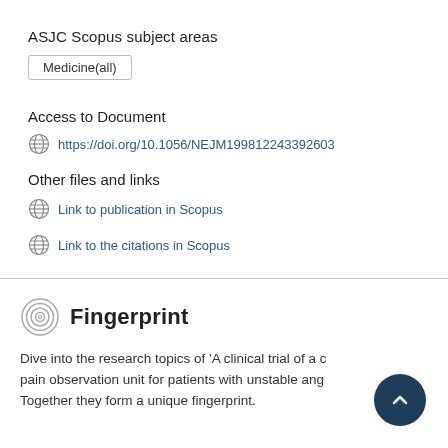ASJC Scopus subject areas
Medicine(all)
Access to Document
https://doi.org/10.1056/NEJM199812243392603
Other files and links
Link to publication in Scopus
Link to the citations in Scopus
Fingerprint
Dive into the research topics of 'A clinical trial of a chest pain observation unit for patients with unstable angina. Together they form a unique fingerprint.